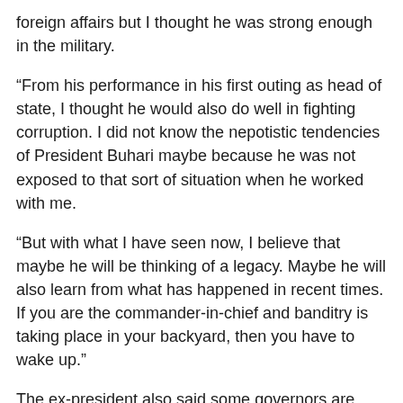foreign affairs but I thought he was strong enough in the military.
“From his performance in his first outing as head of state, I thought he would also do well in fighting corruption. I did not know the nepotistic tendencies of President Buhari maybe because he was not exposed to that sort of situation when he worked with me.
“But with what I have seen now, I believe that maybe he will be thinking of a legacy. Maybe he will also learn from what has happened in recent times. If you are the commander-in-chief and banditry is taking place in your backyard, then you have to wake up.”
The ex-president also said some governors are now in a state of hopelessness because of the president's way of handling the insecurity in the country.